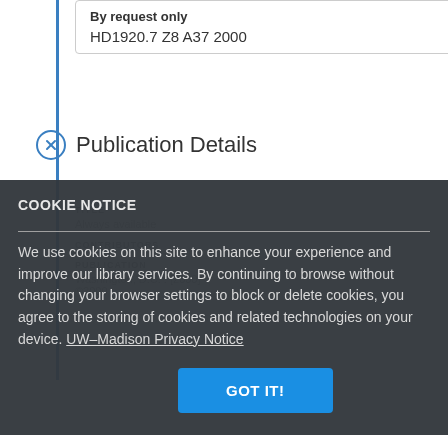By request only
HD1920.7 Z8 A37 2000
Publication Details
TITLE
Always available
CONTRIBUTORS
PUBLICATION
Washington, D.C. : [2000]
©2000
COOKIE NOTICE
We use cookies on this site to enhance your experience and improve our library services. By continuing to browse without changing your browser settings to block or delete cookies, you agree to the storing of cookies and related technologies on your device. UW–Madison Privacy Notice
GOT IT!